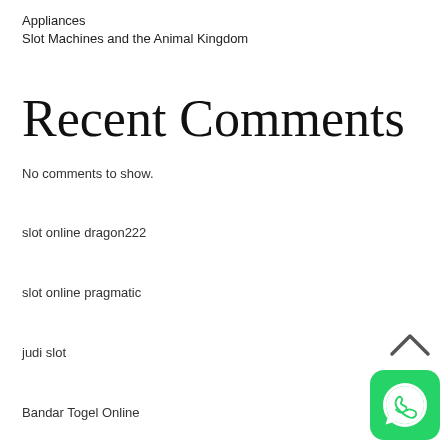Appliances
Slot Machines and the Animal Kingdom
Recent Comments
No comments to show.
slot online dragon222
slot online pragmatic
judi slot
Bandar Togel Online
[Figure (illustration): WhatsApp icon button (green rounded square with white phone handset speech bubble logo) in bottom right corner, with an upward chevron arrow above it]